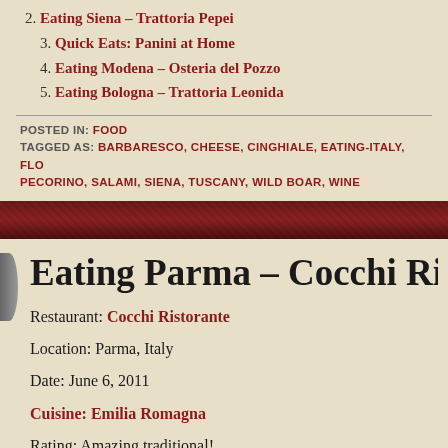2. Eating Siena – Trattoria Pepei
3. Quick Eats: Panini at Home
4. Eating Modena – Osteria del Pozzo
5. Eating Bologna – Trattoria Leonida
POSTED IN: FOOD
TAGGED AS: BARBARESCO, CHEESE, CINGHIALE, EATING-ITALY, FLORENCE, PECORINO, SALAMI, SIENA, TUSCANY, WILD BOAR, WINE
Eating Parma – Cocchi Ri…
Restaurant: Cocchi Ristorante
Location: Parma, Italy
Date: June 6, 2011
Cuisine: Emilia Romagna
Rating: Amazing traditional!